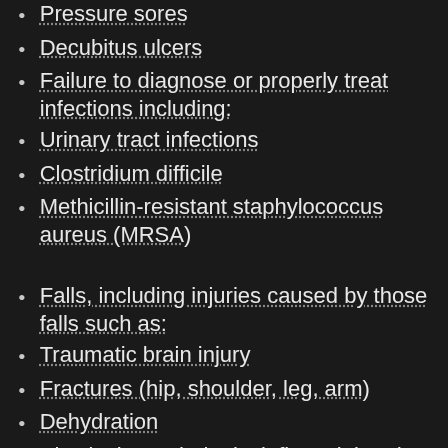Pressure sores
Decubitus ulcers
Failure to diagnose or properly treat infections including:
Urinary tract infections
Clostridium difficile
Methicillin-resistant staphylococcus aureus (MRSA)
Falls, including injuries caused by those falls such as:
Traumatic brain injury
Fractures (hip, shoulder, leg, arm)
Dehydration
Physical, psychological, financial and sexual abuse